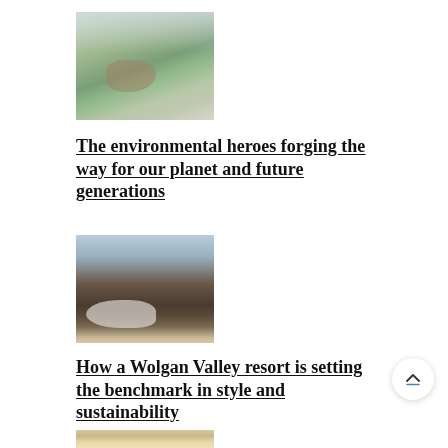[Figure (photo): Aerial view of a river winding through lush green forested hills with misty sky]
The environmental heroes forging the way for our planet and future generations
[Figure (photo): A helicopter parked in a mountain valley with forested rocky hills in the background]
How a Wolgan Valley resort is setting the benchmark in style and sustainability
[Figure (photo): Partial view of a building or structure in a desert/sandy landscape]